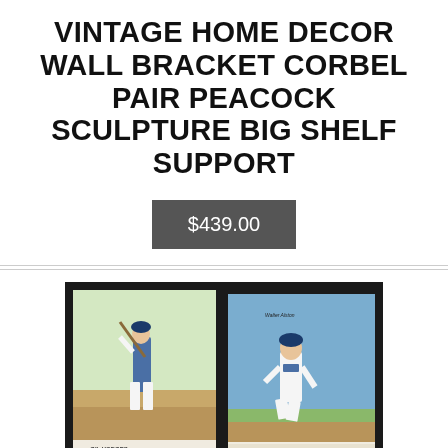VINTAGE HOME DECOR WALL BRACKET CORBEL PAIR PEACOCK SCULPTURE BIG SHELF SUPPORT
$439.00
[Figure (photo): Two vintage baseball cards side by side on black background. Left card: Gil Hodges, Manager, L.A. Dodgers — player in batting stance. Right card: Walter Alston, Manager, L.A. Dodgers — player in Dodgers uniform crouching.]